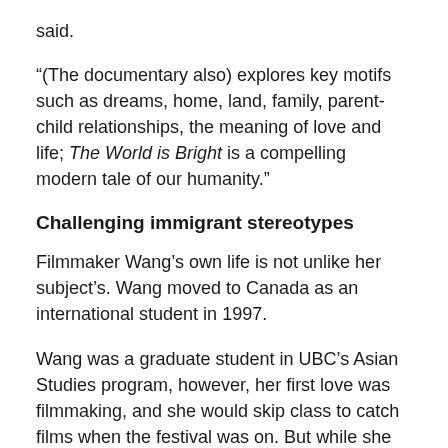said.
“(The documentary also) explores key motifs such as dreams, home, land, family, parent-child relationships, the meaning of love and life; The World is Bright is a compelling modern tale of our humanity.”
Challenging immigrant stereotypes
Filmmaker Wang’s own life is not unlike her subject’s. Wang moved to Canada as an international student in 1997.
Wang was a graduate student in UBC’s Asian Studies program, however, her first love was filmmaking, and she would skip class to catch films when the festival was on. But while she loved the medium, she was frustrated with the content when it came to the potrayal of the lives of new immigrants.